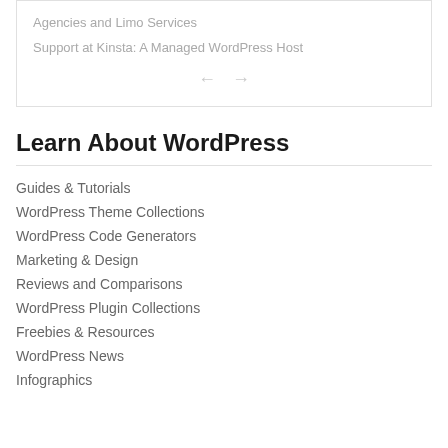Agencies and Limo Services
Support at Kinsta: A Managed WordPress Host
Learn About WordPress
Guides & Tutorials
WordPress Theme Collections
WordPress Code Generators
Marketing & Design
Reviews and Comparisons
WordPress Plugin Collections
Freebies & Resources
WordPress News
Infographics